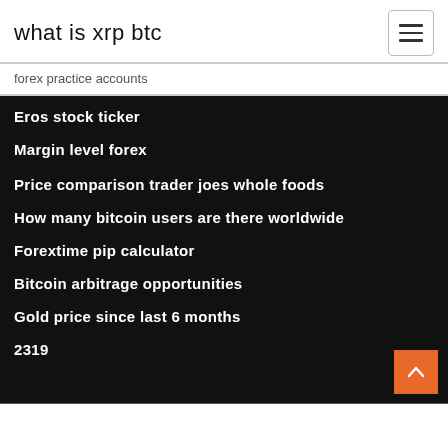what is xrp btc
forex practice accounts
Eros stock ticker
Margin level forex 계산
Price comparison trader joes whole foods
How many bitcoin users are there worldwide
Forextime pip calculator
Bitcoin arbitrage opportunities
Gold price since last 6 months
2319